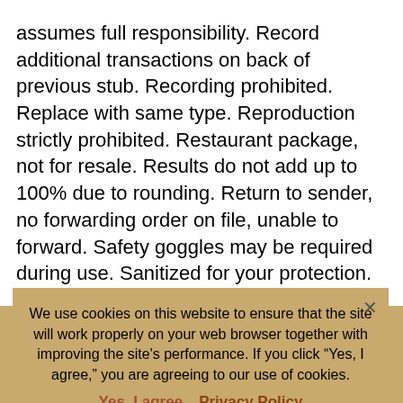assumes full responsibility. Record additional transactions on back of previous stub. Recording prohibited. Replace with same type. Reproduction strictly prohibited. Restaurant package, not for resale. Results do not add up to 100% due to rounding. Return to sender, no forwarding order on file, unable to forward. Safety goggles may be required during use. Sanitized for your protection. Santa Claus is keeping a list. Sealed for your protection, do not use if the safety seal is broken. See label for sequence. Seedless watermelon may contain seeds. Seek medical care if a sudden loss of vision occurs in one or both eyes. Send a self-addressed stamped envelope. Send no money now. Serial numbers must be visible. Shading within a garment
may occur. Shipping and handling extra. Shock Hazard. Shut off motor – No Smoking. Simulated picture. Slightly enlarged to show detail. Slightly higher west of the Mississippi. Slightly higher west of the Rockies. Slippery when wet. Small parts may present a choking hazard. Some assembly required. Some equipment shown is optional. Some of the
We use cookies on this website to ensure that the site will work properly on your web browser together with improving the site's performance. If you click "Yes, I agree," you are agreeing to our use of cookies.
Yes, I agree   Privacy Policy